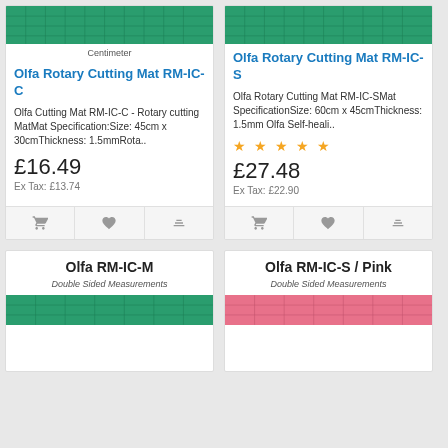[Figure (photo): Green cutting mat image top of left card]
Centimeter
Olfa Rotary Cutting Mat RM-IC-C
Olfa Cutting Mat RM-IC-C - Rotary cutting MatMat Specification:Size: 45cm x 30cmThickness: 1.5mmRota..
£16.49
Ex Tax: £13.74
[Figure (photo): Green cutting mat image top of right card]
Olfa Rotary Cutting Mat RM-IC-S
Olfa Rotary Cutting Mat RM-IC-SMat SpecificationSize: 60cm x 45cmThickness: 1.5mm Olfa Self-heali..
★★★★★
£27.48
Ex Tax: £22.90
Olfa RM-IC-M
Double Sided Measurements
[Figure (photo): Green cutting mat bottom card]
Olfa RM-IC-S / Pink
Double Sided Measurements
[Figure (photo): Pink cutting mat bottom card]